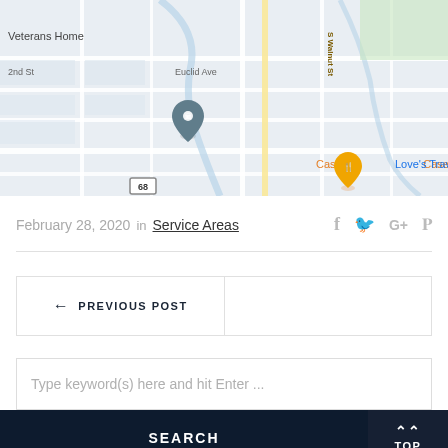[Figure (map): Google Maps screenshot showing a street map. Labels visible include 'Veterans Home', '2nd St', 'Euclid Ave', 'S Walnut St', 'Casey's', 'Love's Travel', route marker '68', and a map pin marker. Casey's shown in orange with a restaurant pin.]
February 28, 2020  in  Service Areas
← PREVIOUS POST
Type keyword(s) here and hit Enter ...
SEARCH
TOP